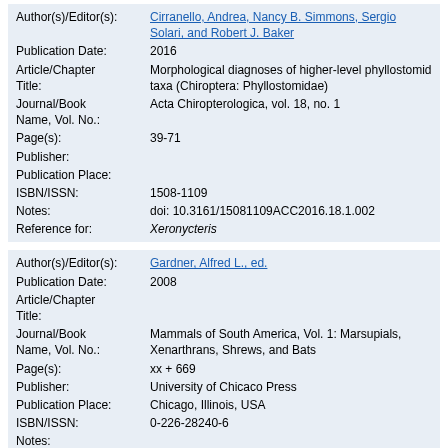| Author(s)/Editor(s): | Cirranello, Andrea, Nancy B. Simmons, Sergio Solari, and Robert J. Baker |
| Publication Date: | 2016 |
| Article/Chapter Title: | Morphological diagnoses of higher-level phyllostomid taxa (Chiroptera: Phyllostomidae) |
| Journal/Book Name, Vol. No.: | Acta Chiropterologica, vol. 18, no. 1 |
| Page(s): | 39-71 |
| Publisher: |  |
| Publication Place: |  |
| ISBN/ISSN: | 1508-1109 |
| Notes: | doi: 10.3161/15081109ACC2016.18.1.002 |
| Reference for: | Xeronycteris |
| Author(s)/Editor(s): | Gardner, Alfred L., ed. |
| Publication Date: | 2008 |
| Article/Chapter Title: |  |
| Journal/Book Name, Vol. No.: | Mammals of South America, Vol. 1: Marsupials, Xenarthrans, Shrews, and Bats |
| Page(s): | xx + 669 |
| Publisher: | University of Chicaco Press |
| Publication Place: | Chicago, Illinois, USA |
| ISBN/ISSN: | 0-226-28240-6 |
| Notes: |  |
| Reference for: | Xeronycteris |
| Author(s)/Editor(s): | Gregorin, Renato, and Albert David Ditchfield |
| Publication Date: | 2005 |
| Article/Chapter Title: | New genus and species of nectar-feeding bat in the tribe Lonchophyllini (Phyllostomidae: Glossophaginae) from Northeastern Brazil |